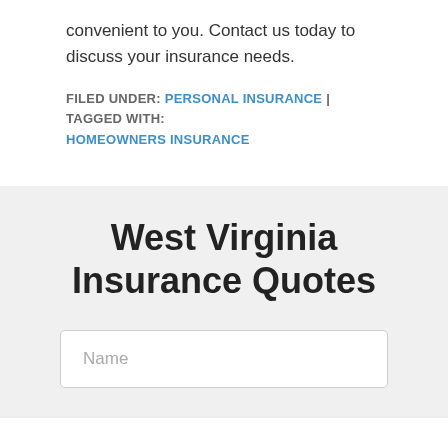convenient to you. Contact us today to discuss your insurance needs.
FILED UNDER: PERSONAL INSURANCE | TAGGED WITH: HOMEOWNERS INSURANCE
West Virginia Insurance Quotes
Name